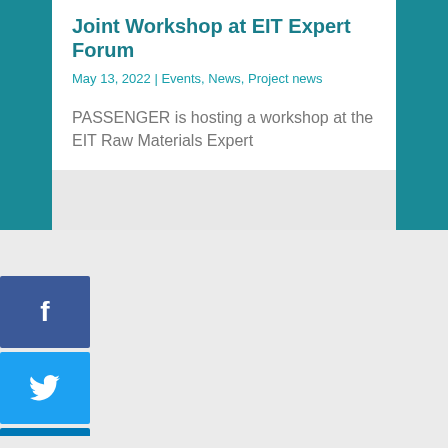Joint Workshop at EIT Expert Forum
May 13, 2022 | Events, News, Project news
PASSENGER is hosting a workshop at the EIT Raw Materials Expert
[Figure (infographic): Social media share icons: Facebook (blue), Twitter (blue), LinkedIn (blue), WhatsApp (green), Email (blue)]
We use cookies to optimise our website and our service.
Accepter les cookies
Deny
View preferences
Privacy policy   Privacy policy   Legal notices